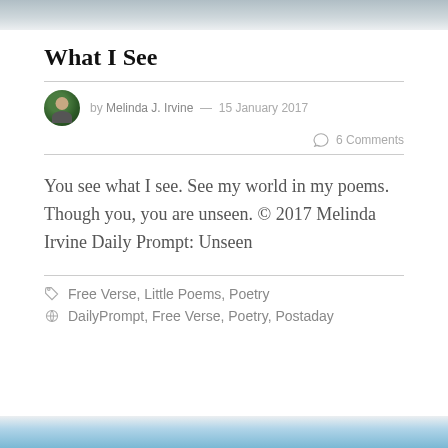[Figure (photo): Top portion of an outdoor photo showing masts or poles against a grey sky, partially cropped at top of page.]
What I See
by Melinda J. Irvine — 15 January 2017
6 Comments
You see what I see. See my world in my poems. Though you, you are unseen. © 2017 Melinda Irvine Daily Prompt: Unseen
Free Verse, Little Poems, Poetry
DailyPrompt, Free Verse, Poetry, Postaday
[Figure (photo): Bottom portion of a photo showing a blue sky with clouds, partially cropped at bottom of page.]